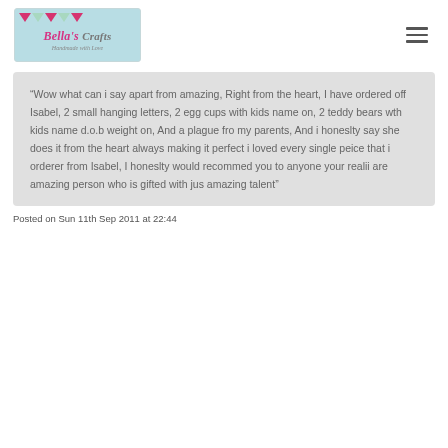[Figure (logo): Bella's Crafts logo with bunting flags and tagline 'Handmade with Love']
“Wow what can i say apart from amazing, Right from the heart, I have ordered off Isabel, 2 small hanging letters, 2 egg cups with kids name on, 2 teddy bears wth kids name d.o.b weight on, And a plague fro my parents, And i honeslty say she does it from the heart always making it perfect i loved every single peice that i orderer from Isabel, I honeslty would recommed you to anyone your realii are amazing person who is gifted with jus amazing talent”
Posted on Sun 11th Sep 2011 at 22:44